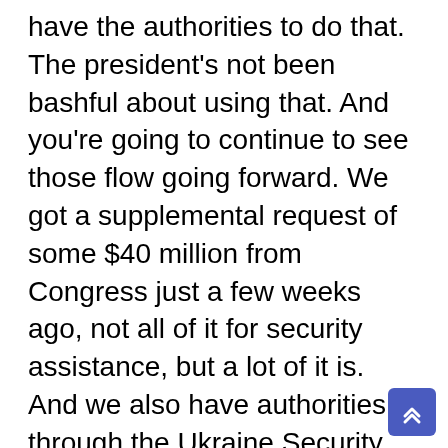have the authorities to do that. The president's not been bashful about using that. And you're going to continue to see those flow going forward. We got a supplemental request of some $40 million from Congress just a few weeks ago, not all of it for security assistance, but a lot of it is. And we also have authorities through the Ukraine Security Assistance Initiative. This is authorities, and we just used some last week, where the Department of Defense can go contract for items that go directly to Ukraine. So there's an awful lot of tools available in the toolbox. And we're open-minded about using all of them.